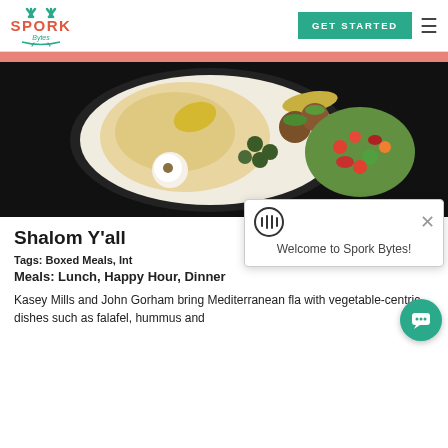[Figure (logo): Spork Bytes logo with fork/knife icon and text]
GET STARTED
[Figure (photo): Overhead photo of a Mediterranean food plate with hummus, olives, falafel, vegetables, and pickles on a dark background]
Shalom Y'all
Tags: Boxed Meals, Int
Meals: Lunch, Happy Hour, Dinner
Kasey Mills and John Gorham bring Mediterranean fla with vegetable-centric dishes such as falafel, hummus and
[Figure (screenshot): Chat popup overlay showing grip icon and close button with text 'Welcome to Spork Bytes!']